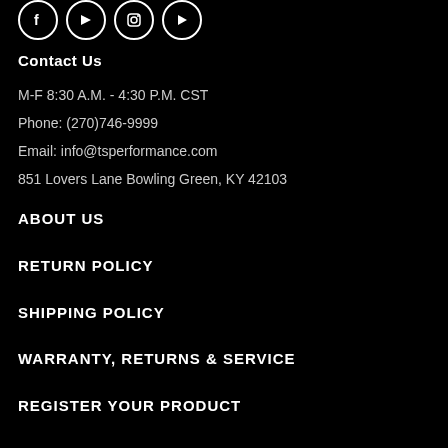[Figure (other): Four social media icon circles (Facebook, YouTube, Instagram, and another social icon) rendered as white circle outlines on black background]
Contact Us
M-F 8:30 A.M. - 4:30 P.M. CST
Phone: (270)746-9999
Email: info@tsperformance.com
851 Lovers Lane Bowling Green, KY 42103
ABOUT US
RETURN POLICY
SHIPPING POLICY
WARRANTY, RETURNS & SERVICE
REGISTER YOUR PRODUCT